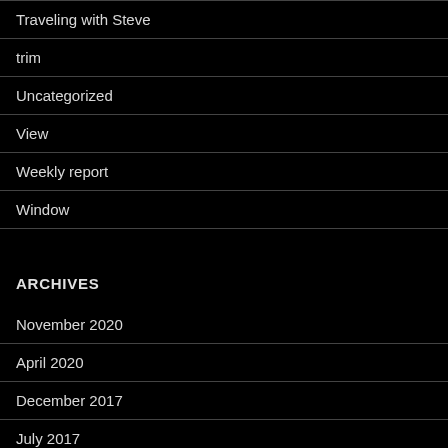Traveling with Steve
trim
Uncategorized
View
Weekly report
Window
ARCHIVES
November 2020
April 2020
December 2017
July 2017